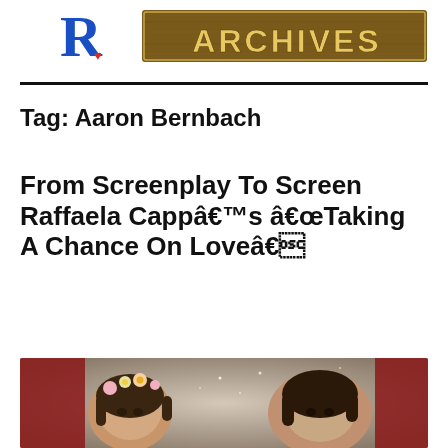[Figure (logo): Reel Reviews Archives logo: stylized R with red heart and wooden block letters spelling ARCHIVES]
Tag: Aaron Bernbach
From Screenplay To Screen Raffaela Cappâ€™s â€œTaking A Chance On Loveâ€
[Figure (photo): Two women facing camera, one with flower crown with pink and yellow flowers, sparkly/glittery background]